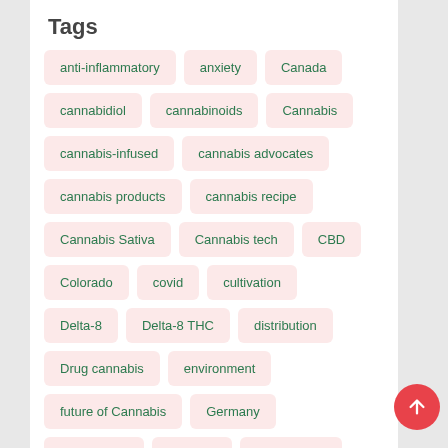Tags
anti-inflammatory
anxiety
Canada
cannabidiol
cannabinoids
Cannabis
cannabis-infused
cannabis advocates
cannabis products
cannabis recipe
Cannabis Sativa
Cannabis tech
CBD
Colorado
covid
cultivation
Delta-8
Delta-8 THC
distribution
Drug cannabis
environment
future of Cannabis
Germany
germination
Growing
Legalisation